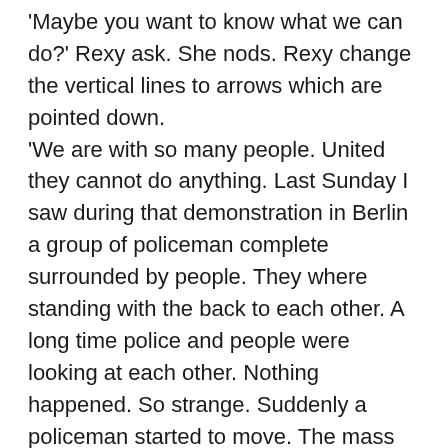'Maybe you want to know what we can do?' Rexy ask. She nods. Rexy change the vertical lines to arrows which are pointed down. 'We are with so many people. United they cannot do anything. Last Sunday I saw during that demonstration in Berlin a group of policeman complete surrounded by people. They where standing with the back to each other. A long time police and people were looking at each other. Nothing happened. So strange. Suddenly a policeman started to move. The mass swerve to both sides and in a row the other policemen walked behind him. That is what they did.' On two places fingers are rising. Rexy start to talk faster. 'Now all of you. You are the representatives of the world. You have to give an example. Like me: take away the symbol. At this moment you can make a choice. The longer you wait the longer the risk: it is all about